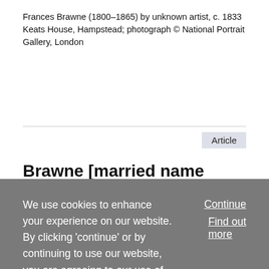Frances Brawne (1800–1865) by unknown artist, c. 1833 Keats House, Hampstead; photograph © National Portrait Gallery, London
Article
Brawne [married name Lindon], Frances [Fanny] (1800–1865), fiancée of John Keats 🔒
Andrew Bennett
Published in print: 23 September 2004
Published online: 23 September 2004
We use cookies to enhance your experience on our website. By clicking 'continue' or by continuing to use our website, you are agreeing to our use of cookies. You can change your cookie settings at any time.